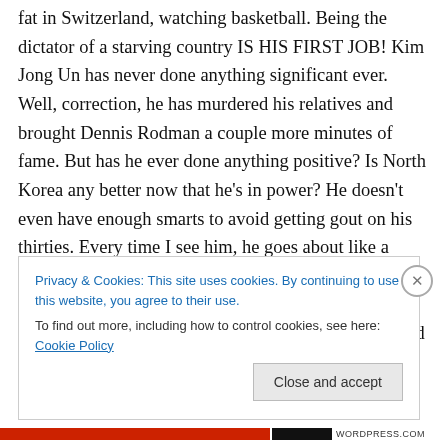fat in Switzerland, watching basketball. Being the dictator of a starving country IS HIS FIRST JOB! Kim Jong Un has never done anything significant ever. Well, correction, he has murdered his relatives and brought Dennis Rodman a couple more minutes of fame. But has he ever done anything positive? Is North Korea any better now that he's in power? He doesn't even have enough smarts to avoid getting gout on his thirties. Every time I see him, he goes about like a relic… someone who has innumerable accomplishments, ruling a mysterious kingdom, and deserving the fear and respect of his noble people. And
Privacy & Cookies: This site uses cookies. By continuing to use this website, you agree to their use.
To find out more, including how to control cookies, see here: Cookie Policy